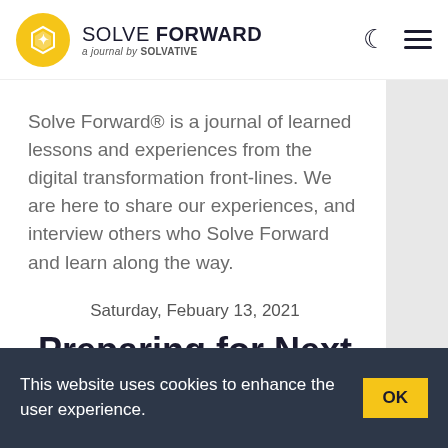SOLVE FORWARD a journal by SOLVATIVE
Solve Forward® is a journal of learned lessons and experiences from the digital transformation front-lines. We are here to share our experiences, and interview others who Solve Forward and learn along the way.
Saturday, Febuary 13, 2021
Preparing for Next Decade of Digital
This website uses cookies to enhance the user experience.